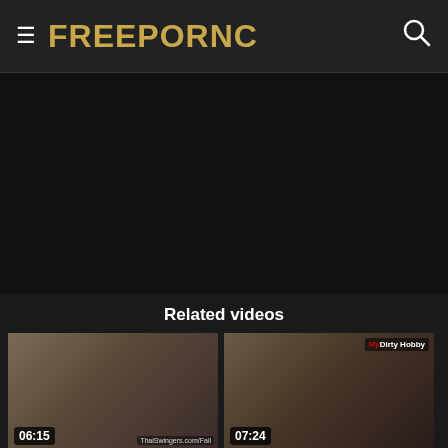FREEPORNC
[Figure (other): Dark advertisement area]
Related videos
[Figure (photo): Video thumbnail: Big tits Asian GF is a horny sl... duration 06:15, watermark ThaiSwingers.com/Fail]
[Figure (photo): Video thumbnail: MyDirtyHobby - Daynia's Dom... duration 07:24, watermark MyDirty Hobby]
Big tits Asian GF is a horny sl...
tits, horny, horny slut, horny b...
MyDirtyHobby - Daynia's Dom...
s blowjob, amateur, amateur ...